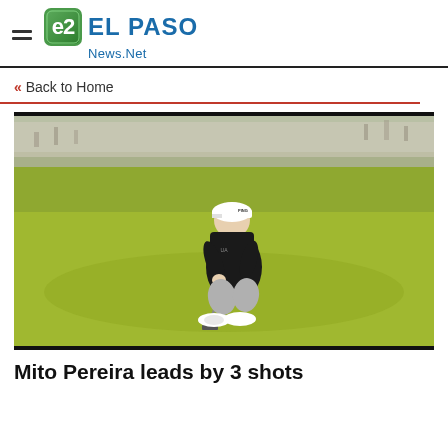EL PASO News.Net
« Back to Home
[Figure (photo): Golfer crouching on putting green lining up a putt, wearing black top, grey pants and white cap, holding a putter. Green grass fairway in background with spectators.]
Mito Pereira leads by 3 shots